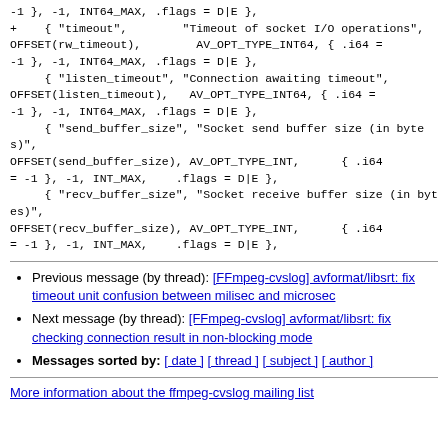-1 }, -1, INT64_MAX, .flags = D|E },
+    { "timeout",        "Timeout of socket I/O operations",
OFFSET(rw_timeout),        AV_OPT_TYPE_INT64, { .i64 = -1 }, -1, INT64_MAX, .flags = D|E },
     { "listen_timeout", "Connection awaiting timeout",
OFFSET(listen_timeout),   AV_OPT_TYPE_INT64, { .i64 = -1 }, -1, INT64_MAX, .flags = D|E },
     { "send_buffer_size", "Socket send buffer size (in bytes)",
OFFSET(send_buffer_size), AV_OPT_TYPE_INT,   { .i64 = -1 }, -1, INT_MAX,   .flags = D|E },
     { "recv_buffer_size", "Socket receive buffer size (in bytes)",
OFFSET(recv_buffer_size), AV_OPT_TYPE_INT,   { .i64 = -1 }, -1, INT_MAX,   .flags = D|E },
Previous message (by thread): [FFmpeg-cvslog] avformat/libsrt: fix timeout unit confusion between milisec and microsec
Next message (by thread): [FFmpeg-cvslog] avformat/libsrt: fix checking connection result in non-blocking mode
Messages sorted by: [ date ] [ thread ] [ subject ] [ author ]
More information about the ffmpeg-cvslog mailing list